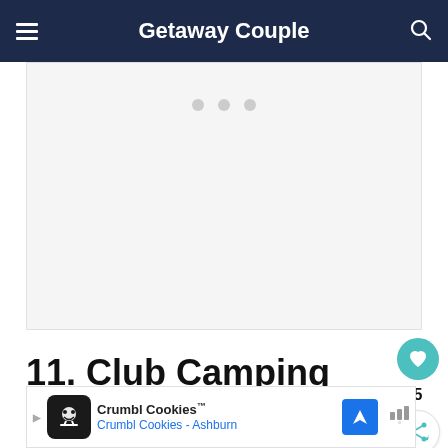Getaway Couple
[Figure (photo): Loading placeholder image area with three grey dots indicating content is loading]
11. Club Camping Chair
[Figure (infographic): Social sidebar with heart/save button (teal, count 5) and share button]
[Figure (infographic): Advertisement banner: Crumbl Cookies - Ashburn with cookie logo, navigation arrow icon, and weather widget icon]